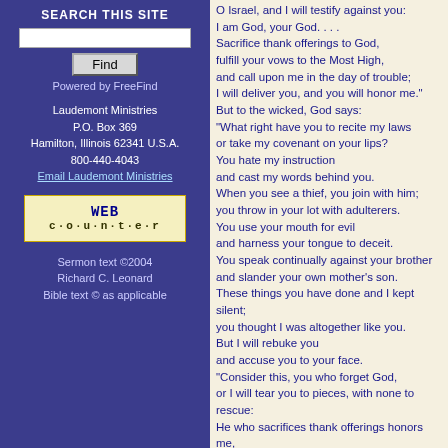SEARCH THIS SITE
Powered by FreeFind
Laudemont Ministries
P.O. Box 369
Hamilton, Illinois 62341 U.S.A.
800-440-4043
Email Laudemont Ministries
[Figure (other): WEB counter badge with stylized letters]
Sermon text ©2004
Richard C. Leonard
Bible text © as applicable
O Israel, and I will testify against you:
I am God, your God. . . .
Sacrifice thank offerings to God,
fulfill your vows to the Most High,
and call upon me in the day of trouble;
I will deliver you, and you will honor me."
But to the wicked, God says:
"What right have you to recite my laws
or take my covenant on your lips?
You hate my instruction
and cast my words behind you.
When you see a thief, you join with him;
you throw in your lot with adulterers.
You use your mouth for evil
and harness your tongue to deceit.
You speak continually against your brother
and slander your own mother's son.
These things you have done and I kept silent;
you thought I was altogether like you.
But I will rebuke you
and accuse you to your face.
"Consider this, you who forget God,
or I will tear you to pieces, with none to rescue:
He who sacrifices thank offerings honors me,
and he prepares the way
so that I may show him the salvation of God."
Little Abigail clutched her father's hand. She walked with him to the house of the Lord. It wasn't only the climb up the hill to the holy city. But Abigail had not just watched her brother Eliezer when the ram's horn had sounded, had grabbed an extra tambourine, and had invited her to join them as their tribe led them up to the sanctuary.
What a thrill it had been to be part of the festive road between the singers in front and the...